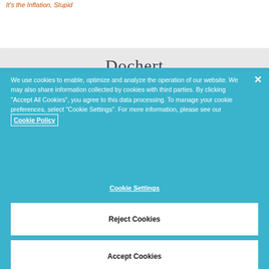It's the Inflation, Stupid
[Figure (logo): Dochert logo text in dark gray serif font on light gray background]
We use cookies to enable, optimize and analyze the operation of our website. We may also share information collected by cookies with third parties. By clicking “Accept All Cookies”, you agree to this data processing. To manage your cookie preferences, select “Cookie Settings”. For more information, please see our Cookie Policy
Cookie Settings
Reject Cookies
Accept Cookies